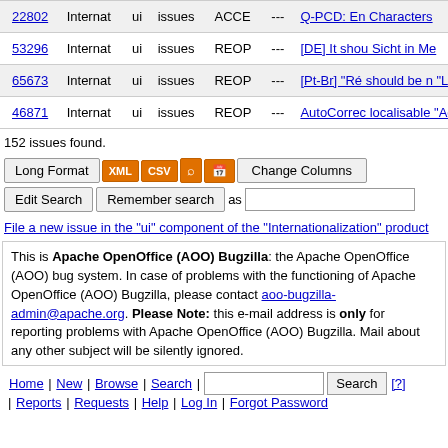| ID | Product | Comp | Type | Status | Sev | Summary |
| --- | --- | --- | --- | --- | --- | --- |
| 22802 | Internat | ui | issues | ACCE | --- | Q-PCD: En Characters |
| 53296 | Internat | ui | issues | REOP | --- | [DE] It shou Sicht in Me |
| 65673 | Internat | ui | issues | REOP | --- | [Pt-Br] "Ré should be n "Linha Hori |
| 46871 | Internat | ui | issues | REOP | --- | AutoCorrec localisable "Accept wit |
152 issues found.
Long Format | XML | CSV | RSS | iCal | Change Columns
Edit Search | Remember search as [input]
File a new issue in the "ui" component of the "Internationalization" product
This is Apache OpenOffice (AOO) Bugzilla: the Apache OpenOffice (AOO) bug system. In case of problems with the functioning of Apache OpenOffice (AOO) Bugzilla, please contact aoo-bugzilla-admin@apache.org. Please Note: this e-mail address is only for reporting problems with Apache OpenOffice (AOO) Bugzilla. Mail about any other subject will be silently ignored.
Home | New | Browse | Search | [input] Search [?] | Reports | Requests | Help | Log In | Forgot Password